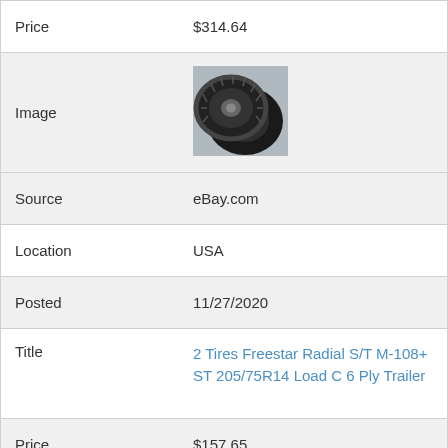| Field | Value |
| --- | --- |
| Price | $314.64 |
| Image | [tire photo] |
| Source | eBay.com |
| Location | USA |
| Posted | 11/27/2020 |
| Title | 2 Tires Freestar Radial S/T M-108+ ST 205/75R14 Load C 6 Ply Trailer |
| Price | $157.65 |